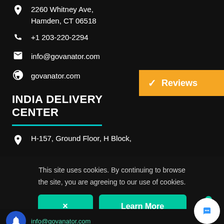2260 Whitney Ave, Hamden, CT 06518
+1 203-220-2294
info@govanator.com
govanator.com
[Figure (other): Orange Reviews button with checkmark]
INDIA DELIVERY CENTER
H-157, Ground Floor, H Block,
This site uses cookies. By continuing to browse the site, you are agreeing to our use of cookies.
× Learn More